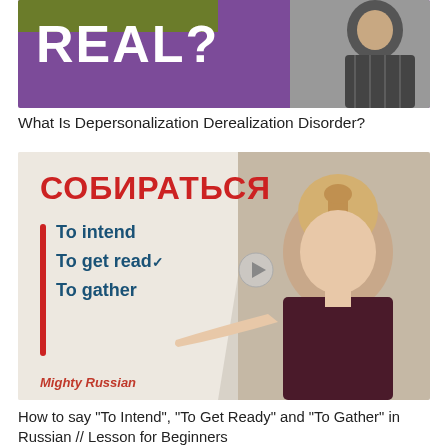[Figure (illustration): Thumbnail image with purple background showing large white bold text 'REAL?' with a partial olive-colored bar at top and a person in business attire on the right side]
What Is Depersonalization Derealization Disorder?
[Figure (illustration): Educational thumbnail for Russian language lesson. Shows red Cyrillic text 'СОБИРАТЬСЯ' with a red vertical bar and three English translations in dark blue: 'To intend', 'To get read✓', 'To gather'. A play button icon is visible. A woman with blonde hair and dark top is shown on the right. Bottom left reads 'Mighty Russian' in red italic text.]
How to say "To Intend", "To Get Ready" and "To Gather" in Russian // Lesson for Beginners